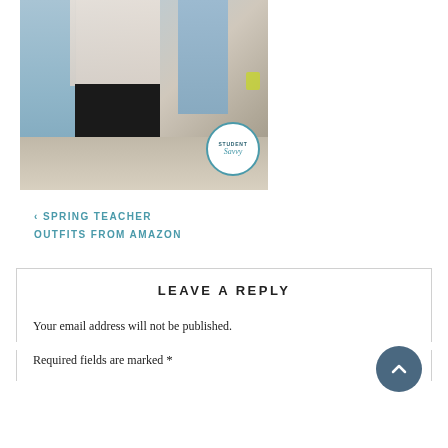[Figure (photo): Person wearing a light blue denim jacket over a floral top and black pants, standing indoors. Student Savvy logo circle in bottom right of photo.]
‹ SPRING TEACHER OUTFITS FROM AMAZON
LEAVE A REPLY
Your email address will not be published.
Required fields are marked *